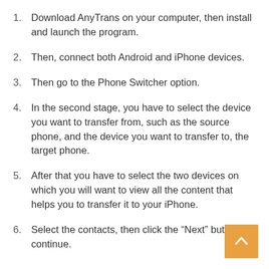1. Download AnyTrans on your computer, then install and launch the program.
2. Then, connect both Android and iPhone devices.
3. Then go to the Phone Switcher option.
4. In the second stage, you have to select the device you want to transfer from, such as the source phone, and the device you want to transfer to, the target phone.
5. After that you have to select the two devices on which you will want to view all the content that helps you to transfer it to your iPhone.
6. Select the contacts, then click the “Next” button to continue.